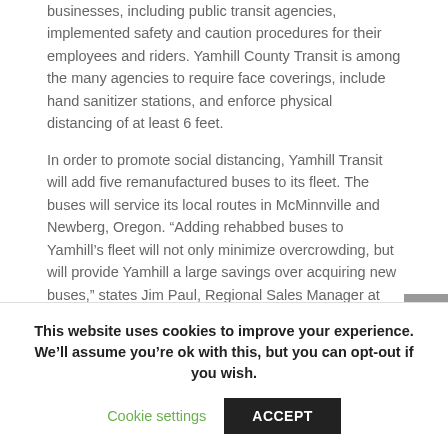businesses, including public transit agencies, implemented safety and caution procedures for their employees and riders. Yamhill County Transit is among the many agencies to require face coverings, include hand sanitizer stations, and enforce physical distancing of at least 6 feet.
In order to promote social distancing, Yamhill Transit will add five remanufactured buses to its fleet. The buses will service its local routes in McMinnville and Newberg, Oregon. “Adding rehabbed buses to Yamhill’s fleet will not only minimize overcrowding, but will provide Yamhill a large savings over acquiring new buses,” states Jim Paul, Regional Sales Manager at CCW. “Purchasing rehabbed buses is the most cost-effective and efficient way to.
This website uses cookies to improve your experience. We’ll assume you’re ok with this, but you can opt-out if you wish.
Cookie settings
ACCEPT